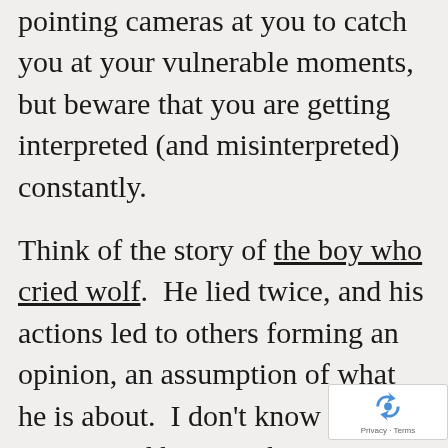pointing cameras at you to catch you at your vulnerable moments, but beware that you are getting interpreted (and misinterpreted) constantly.
Think of the story of the boy who cried wolf.  He lied twice, and his actions led to others forming an opinion, an assumption of what he is about.  I don't know if he was a good boy in other circumstances.  His unethical conduct ultimately built up a reputation that worked against
[Figure (logo): Google reCAPTCHA badge with recycling arrow icon and Privacy · Terms text]